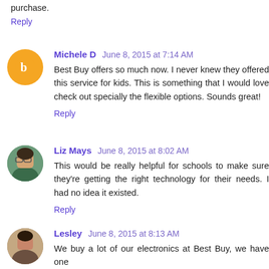purchase.
Reply
Michele D  June 8, 2015 at 7:14 AM
Best Buy offers so much now. I never knew they offered this service for kids. This is something that I would love check out specially the flexible options. Sounds great!
Reply
Liz Mays  June 8, 2015 at 8:02 AM
This would be really helpful for schools to make sure they're getting the right technology for their needs. I had no idea it existed.
Reply
Lesley  June 8, 2015 at 8:13 AM
We buy a lot of our electronics at Best Buy, we have one